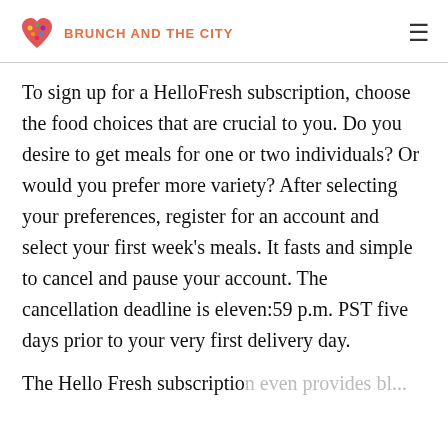BRUNCH AND THE CITY
To sign up for a HelloFresh subscription, choose the food choices that are crucial to you. Do you desire to get meals for one or two individuals? Or would you prefer more variety? After selecting your preferences, register for an account and select your first week’s meals. It fasts and simple to cancel and pause your account. The cancellation deadline is eleven:59 p.m. PST five days prior to your very first delivery day.
The Hello Fresh subscription even provides bl...